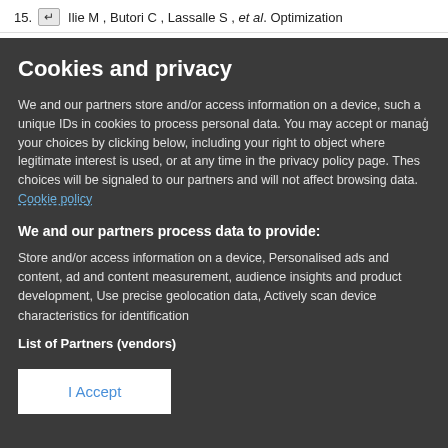15. ↵ Ilie M , Butori C , Lassalle S , et al. Optimization
Cookies and privacy
We and our partners store and/or access information on a device, such a unique IDs in cookies to process personal data. You may accept or manage your choices by clicking below, including your right to object where legitimate interest is used, or at any time in the privacy policy page. These choices will be signaled to our partners and will not affect browsing data. Cookie policy
We and our partners process data to provide:
Store and/or access information on a device, Personalised ads and content, ad and content measurement, audience insights and product development, Use precise geolocation data, Actively scan device characteristics for identification
List of Partners (vendors)
I Accept